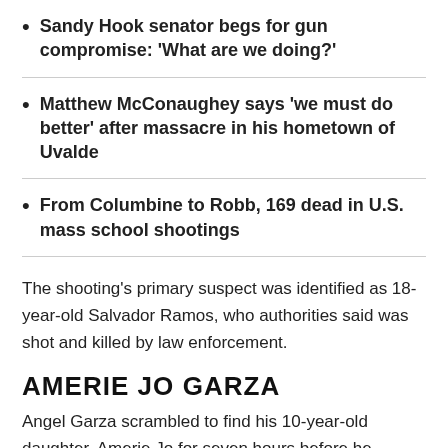Sandy Hook senator begs for gun compromise: 'What are we doing?'
Matthew McConaughey says 'we must do better' after massacre in his hometown of Uvalde
From Columbine to Robb, 169 dead in U.S. mass school shootings
The shooting's primary suspect was identified as 18-year-old Salvador Ramos, who authorities said was shot and killed by law enforcement.
AMERIE JO GARZA
Angel Garza scrambled to find his 10-year-old daughter, Amerie Jo for seven hours before he